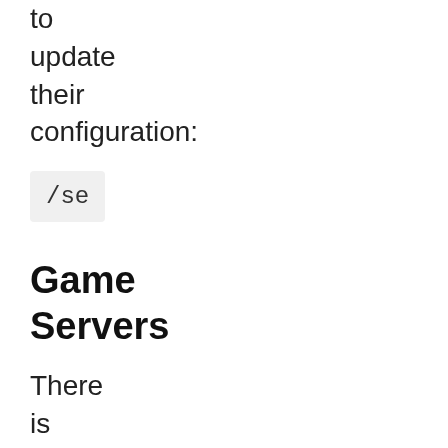to update their configuration:
/se
Game Servers
There is a permanent game gateway server running at: